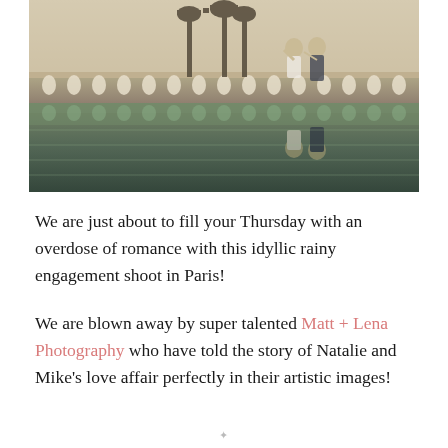[Figure (photo): A romantic engagement photo in Paris showing a couple on a bridge with ornate lamp posts. The image appears to have a reflected/mirrored effect — the top half shows the couple standing upright against a sepia-toned sky with bridge architecture, and the bottom half shows their reflections (upside down) in water below, with green tones.]
We are just about to fill your Thursday with an overdose of romance with this idyllic rainy engagement shoot in Paris!
We are blown away by super talented Matt + Lena Photography who have told the story of Natalie and Mike's love affair perfectly in their artistic images!